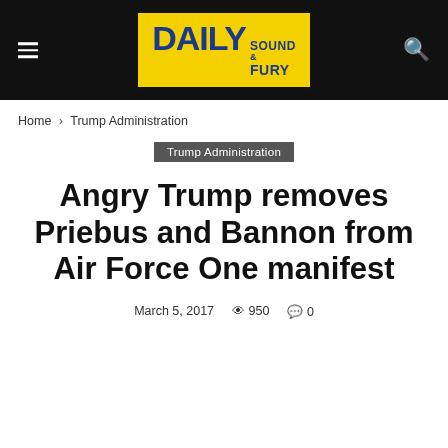Daily Sound & Fury
Home › Trump Administration
Trump Administration
Angry Trump removes Priebus and Bannon from Air Force One manifest
March 5, 2017  950  0